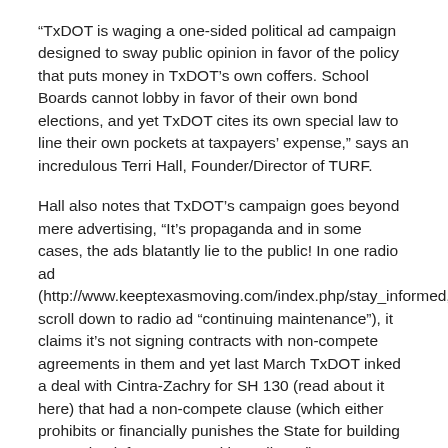“TxDOT is waging a one-sided political ad campaign designed to sway public opinion in favor of the policy that puts money in TxDOT’s own coffers. School Boards cannot lobby in favor of their own bond elections, and yet TxDOT cites its own special law to line their own pockets at taxpayers’ expense,” says an incredulous Terri Hall, Founder/Director of TURF.
Hall also notes that TxDOT’s campaign goes beyond mere advertising, “It’s propaganda and in some cases, the ads blatantly lie to the public! In one radio ad (http://www.keeptexasmoving.com/index.php/stay_informed, scroll down to radio ad “continuing maintenance”), it claims it’s not signing contracts with non-compete agreements in them and yet last March TxDOT inked a deal with Cintra-Zachry for SH 130 (read about it here) that had a non-compete clause (which either prohibits or financially punishes the State for building competing infrastructure with a toll road).”
On August 22, 2007, TURF filed a formal complaint with Travis County District Attorney Ronnie Earle to investigate TxDOT’s illegal lobbying and asked him to prosecute TxDOT for criminal wrongdoing. See the formal complaint here. The petition before...